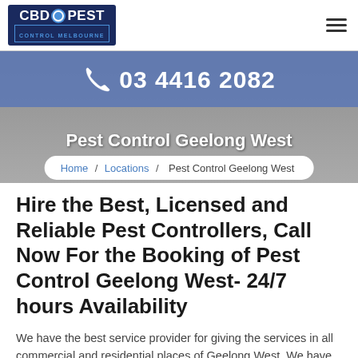CBD PEST CONTROL MELBOURNE
[Figure (screenshot): Hero banner with phone number 03 4416 2082 and title Pest Control Geelong West over a background image]
Pest Control Geelong West
Home / Locations / Pest Control Geelong West
Hire the Best, Licensed and Reliable Pest Controllers, Call Now For the Booking of Pest Control Geelong West- 24/7 hours Availability
We have the best service provider for giving the services in all commercial and residential places of Geelong West. We have new strategies to help you when you hire us for the